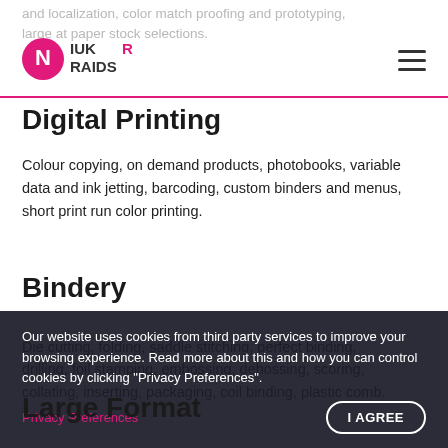and localization, color match proofing and prototyping, large at paper stock selections.
[Figure (logo): NiukRaids logo with stylized N inside a pink/red circle and the text NIUKRAIDS in bold letters]
Digital Printing
Colour copying, on demand products, photobooks, variable data and ink jetting, barcoding, custom binders and menus, short print run color printing.
Bindery
Die cutting, folding, saddle stitching, perfect binding, drilling, foil stamping, embossing, debossing, scoring, collating, inserting, packaging, coil binding, plastic comb.
Our website uses cookies from third party services to improve your browsing experience. Read more about this and how you can control cookies by clicking "Privacy Preferences".
Privacy Preferences
Large Format